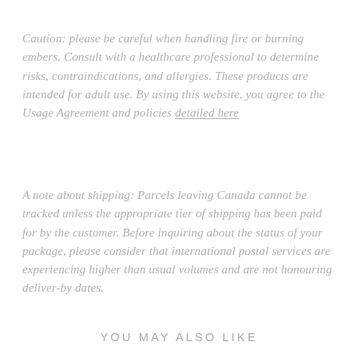Caution: please be careful when handling fire or burning embers. Consult with a healthcare professional to determine risks, contraindications, and allergies. These products are intended for adult use. By using this website, you agree to the Usage Agreement and policies detailed here
A note about shipping: Parcels leaving Canada cannot be tracked unless the appropriate tier of shipping has been paid for by the customer. Before inquiring about the status of your package, please consider that international postal services are experiencing higher than usual volumes and are not honouring deliver-by dates.
YOU MAY ALSO LIKE